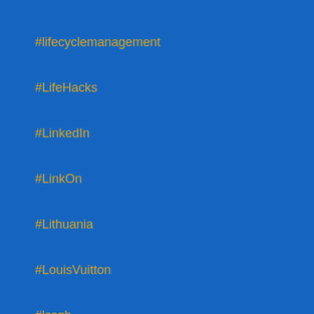#lifecyclemanagement
#LifeHacks
#LinkedIn
#LinkOn
#Lithuania
#LouisVuitton
#lssgb
#LSSGB
#LSSGB